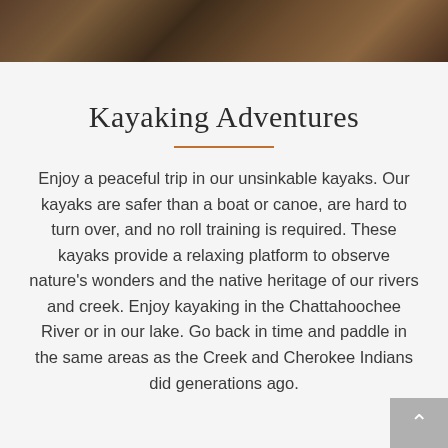[Figure (photo): Outdoor nature photo strip at the top of the page showing trees and foliage in autumn colors]
Kayaking Adventures
Enjoy a peaceful trip in our unsinkable kayaks. Our kayaks are safer than a boat or canoe, are hard to turn over, and no roll training is required. These kayaks provide a relaxing platform to observe nature's wonders and the native heritage of our rivers and creek. Enjoy kayaking in the Chattahoochee River or in our lake. Go back in time and paddle in the same areas as the Creek and Cherokee Indians did generations ago.